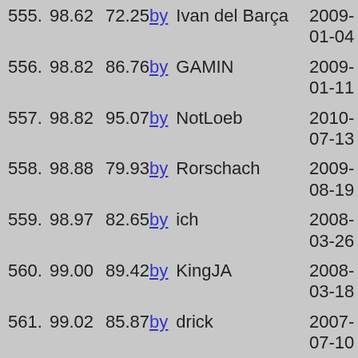555. 98.62  72.25  by Ivan del Barça  2009-01-04
556. 98.82  86.76  by GAMIN  2009-01-11
557. 98.82  95.07  by NotLoeb  2010-07-13
558. 98.88  79.93  by Rorschach  2009-08-19
559. 98.97  82.65  by ich  2008-03-26
560. 99.00  89.42  by KingJA  2008-03-18
561. 99.02  85.87  by drick  2007-07-10
562. 99.34  71.42  by fog390  2009-01-04
563. 99.55  93.61  by erwo  2009-01-13
564. 99.88  89.25  by DANI221  2008-10-17
565. 99.91  73.12  by nilo  2008-02-10
566. 100.06  91.74  by 000RAKROMU  2009-